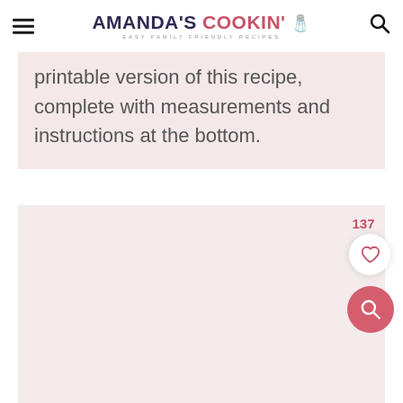AMANDA'S COOKIN' - EASY FAMILY FRIENDLY RECIPES
printable version of this recipe, complete with measurements and instructions at the bottom.
[Figure (photo): Large image placeholder area with light pink/grey background, partially visible below the text box. A like/favorite count of 137 with a heart button and a pink search button are overlaid on the right side.]